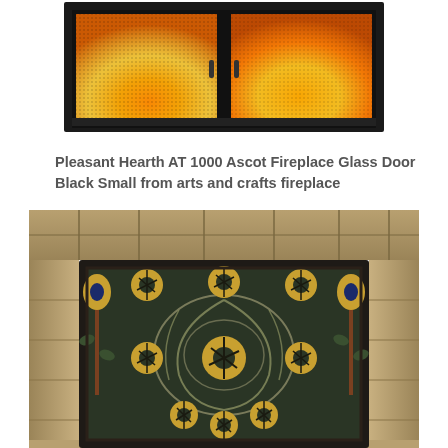[Figure (photo): Fireplace glass door with black frame showing flames visible through two glass panels with mesh screen, product Pleasant Hearth AT 1000 Ascot]
Pleasant Hearth AT 1000 Ascot Fireplace Glass Door Black Small from arts and crafts fireplace
[Figure (photo): Arts and crafts style decorative fireplace screen with colorful tile-like stained glass pattern featuring tulip and floral motifs in gold, green, navy blue, set within a stone surround]